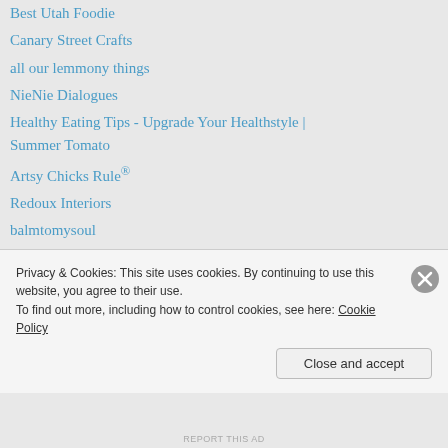Best Utah Foodie
Canary Street Crafts
all our lemmony things
NieNie Dialogues
Healthy Eating Tips - Upgrade Your Healthstyle | Summer Tomato
Artsy Chicks Rule®
Redoux Interiors
balmtomysoul
Kammy's Korner
Snazzy Little Things
My great Wordpress blog
a perfect gray
The Frosted Gardner
Privacy & Cookies: This site uses cookies. By continuing to use this website, you agree to their use.
To find out more, including how to control cookies, see here: Cookie Policy
Close and accept